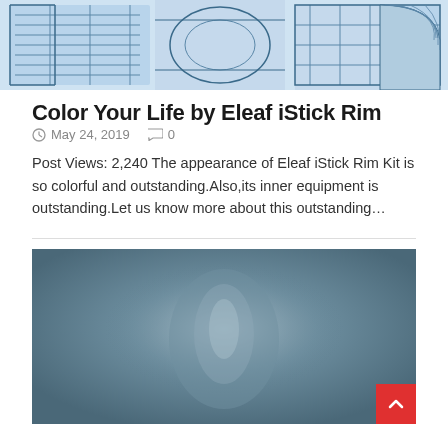[Figure (illustration): Light blue technical/engineering line drawing showing cylindrical and geometric shapes — partial view of a product schematic or CAD drawing.]
Color Your Life by Eleaf iStick Rim
May 24, 2019   0
Post Views: 2,240 The appearance of Eleaf iStick Rim Kit is so colorful and outstanding.Also,its inner equipment is outstanding.Let us know more about this outstanding…
[Figure (photo): A blurred/soft-focus photograph with a blue-grey gradient background — likely a product image of the Eleaf iStick Rim Kit.]